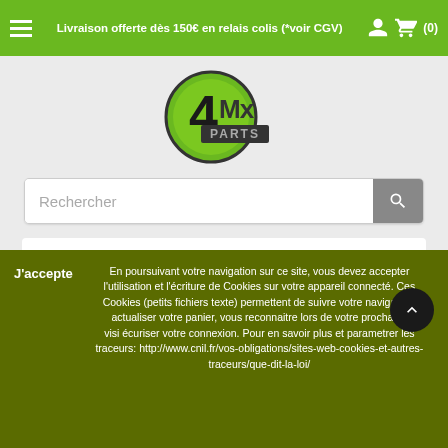Livraison offerte dès 150€ en relais colis (*voir CGV)
[Figure (logo): 4Mx Parts logo — a green circle with '4' and 'Mx PARTS' text in metallic style]
Rechercher
CROSSX - HOUSSE DE SELLE YZF 250 2010-2013 (2 COLORIS)
44,90 €
couleur - Noir
En poursuivant votre navigation sur ce site, vous devez accepter l'utilisation et l'écriture de Cookies sur votre appareil connecté. Ces Cookies (petits fichiers texte) permettent de suivre votre navigation, actualiser votre panier, vous reconnaitre lors de votre prochaine visite et sécuriser votre connexion. Pour en savoir plus et parametrer les traceurs: http://www.cnil.fr/vos-obligations/sites-web-cookies-et-autres-traceurs/que-dit-la-loi/